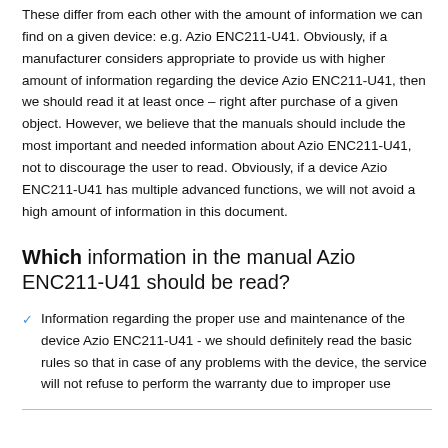These differ from each other with the amount of information we can find on a given device: e.g. Azio ENC211-U41. Obviously, if a manufacturer considers appropriate to provide us with higher amount of information regarding the device Azio ENC211-U41, then we should read it at least once – right after purchase of a given object. However, we believe that the manuals should include the most important and needed information about Azio ENC211-U41, not to discourage the user to read. Obviously, if a device Azio ENC211-U41 has multiple advanced functions, we will not avoid a high amount of information in this document.
Which information in the manual Azio ENC211-U41 should be read?
Information regarding the proper use and maintenance of the device Azio ENC211-U41 - we should definitely read the basic rules so that in case of any problems with the device, the service will not refuse to perform the warranty due to improper use